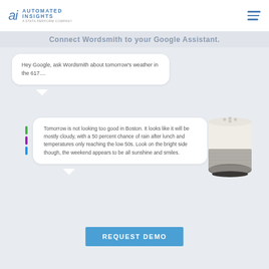Automated Insights — A Stata Perform Company
Connect Wordsmith to your Google Assistant.
Hey Google, ask Wordsmith about tomorrow's weather in the 617...
[Figure (illustration): Google Assistant response bubble with colored indicator bars (green, purple, blue) and text: Tomorrow is not looking too good in Boston. It looks like it will be mostly cloudy, with a 50 percent chance of rain after lunch and temperatures only reaching the low 50s. Look on the bright side though, the weekend appears to be all sunshine and smiles.]
[Figure (photo): Google Home smart speaker device (white top, gray woven base)]
REQUEST DEMO